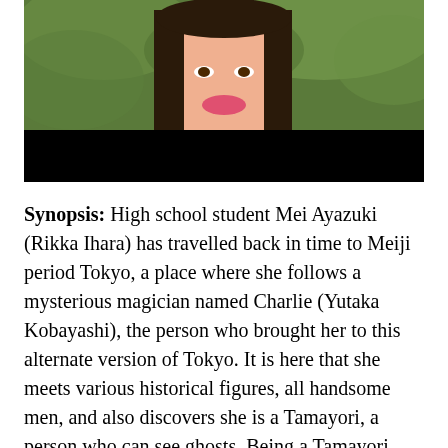[Figure (photo): A young woman with long dark hair wearing a blue and white patterned garment, smiling. The lower portion of the image is covered by a black bar. Green foliage in the background.]
Synopsis: High school student Mei Ayazuki (Rikka Ihara) has travelled back in time to Meiji period Tokyo, a place where she follows a mysterious magician named Charlie (Yutaka Kobayashi), the person who brought her to this alternate version of Tokyo. It is here that she meets various historical figures, all handsome men, and also discovers she is a Tamayori, a person who can see ghosts. Being a Tamayori changes her relationship with the men and the flame of love flickers in Mei but should